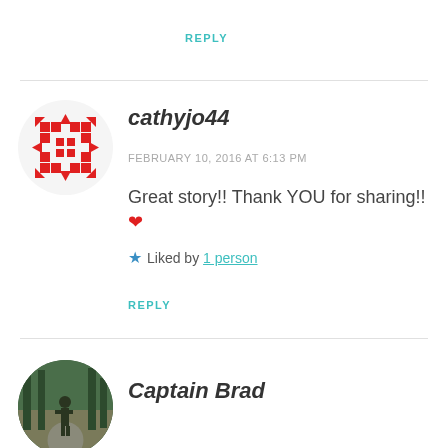REPLY
[Figure (illustration): Gravatar-style avatar for cathyjo44: red arrow pattern on white circle background]
cathyjo44
FEBRUARY 10, 2016 AT 6:13 PM
Great story!! Thank YOU for sharing!!❤
★ Liked by 1 person
REPLY
[Figure (photo): Circular avatar photo of Captain Brad, person on a wooded path]
Captain Brad